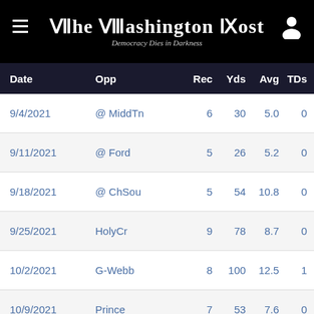The Washington Post — Democracy Dies in Darkness
| Date | Opp | Rec | Yds | Avg | TDs |
| --- | --- | --- | --- | --- | --- |
| 9/4/2021 | @ MiddTn | 6 | 30 | 5.0 | 0 |
| 9/11/2021 | @ Ford | 5 | 26 | 5.2 | 0 |
| 9/18/2021 | @ ChSou | 5 | 54 | 10.8 | 0 |
| 9/25/2021 | HolyCr | 9 | 78 | 8.7 | 0 |
| 10/2/2021 | G-Webb | 8 | 100 | 12.5 | 1 |
| 10/9/2021 | Prince | 7 | 53 | 7.6 | 0 |
| 10/16/2021 | @ Camp | 7 | 115 | 16.4 | 1 |
| 10/30/2021 | @ NCA&T | 5 | 100 | 20.0 | 1 |